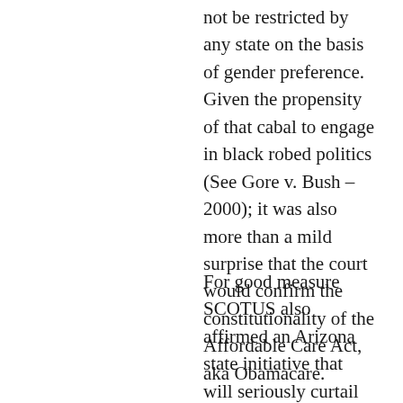not be restricted by any state on the basis of gender preference. Given the propensity of that cabal to engage in black robed politics (See Gore v. Bush – 2000); it was also more than a mild surprise that the court would confirm the constitutionality of the Affordable Care Act, aka Obamacare.
For good measure SCOTUS also affirmed an Arizona state initiative that will seriously curtail redistricting with obvious partisan motives. And it also ruled that affordable housing development cannot be restricted to lower income